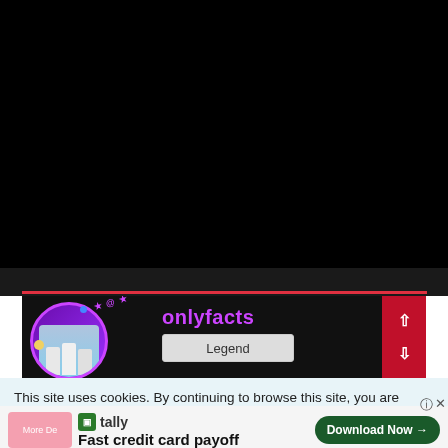[Figure (screenshot): Black video player area taking up the top portion of the page]
[Figure (screenshot): YouTube-style channel banner for 'onlyfacts' with purple planet graphic showing K-pop figures, channel name in purple, and a Legend subscribe button, with red up/down navigation arrows on the right]
This site uses cookies. By continuing to browse this site, you are agreeing to our use of cookies.
Fast credit card payoff
Download Now →